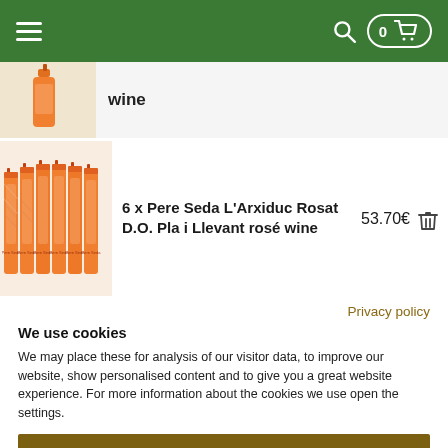Navigation header with menu, search, and cart (0 items)
wine
[Figure (photo): Partial product image of wine bottle(s), orange label, top of page]
6 x Pere Seda L'Arxiduc Rosat D.O. Pla i Llevant rosé wine
53.70€
[Figure (photo): Six bottles of Pere Seda L'Arxiduc Rosat wine with orange/pink labels arranged in a row]
Privacy policy
We use cookies
We may place these for analysis of our visitor data, to improve our website, show personalised content and to give you a great website experience. For more information about the cookies we use open the settings.
Accept all
Deny
Adjust settings